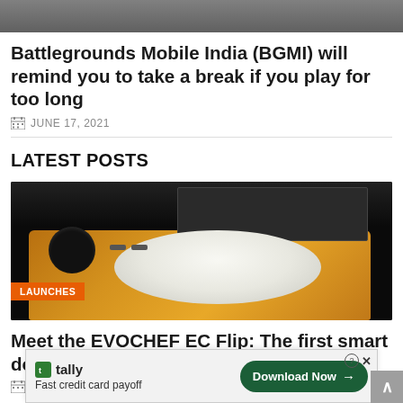[Figure (photo): Top portion of article image showing people in background, partially visible]
Battlegrounds Mobile India (BGMI) will remind you to take a break if you play for too long
JUNE 17, 2021
LATEST POSTS
[Figure (photo): EVOCHEF EC Flip dosa maker machine with gold metallic body on dark background, steam rising, with LAUNCHES badge]
Meet the EVOCHEF EC Flip: The first smart dosa maker
JUNE 17, 2021